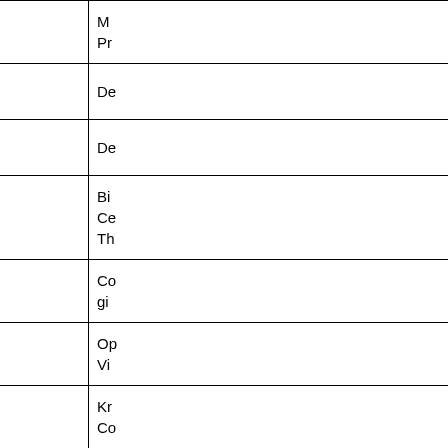| S.No. | Name | Description |
| --- | --- | --- |
| 25 | Ms. Shikha Mishra | M... Pr... |
| 26 | Mrs. Prem Lata | De... |
| 27 | Mrs. Pushpanjali | De... |
| 28 | Mrs. Komal Chauhan | Bi... Ce... Th... |
| 29 | Ms. Monika Jain | Co... gi... |
| 30 | Mrs. Poonam Tewari | Op... Vi... |
| 31 | Mrs. Aabha Gupta | Kr... Co... |
| 32 | Ms. Anuradha Saxena | Im... W... |